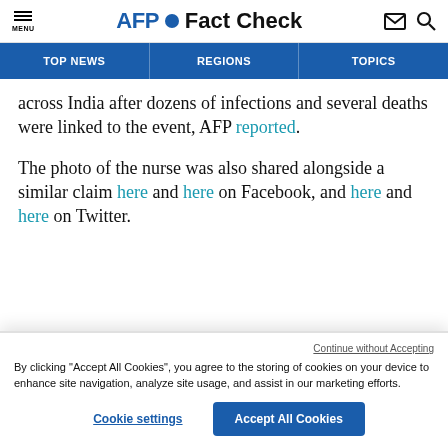AFP Fact Check
TOP NEWS   REGIONS   TOPICS
across India after dozens of infections and several deaths were linked to the event, AFP reported.
The photo of the nurse was also shared alongside a similar claim here and here on Facebook, and here and here on Twitter.
Continue without Accepting
By clicking “Accept All Cookies”, you agree to the storing of cookies on your device to enhance site navigation, analyze site usage, and assist in our marketing efforts.
Cookie settings   Accept All Cookies